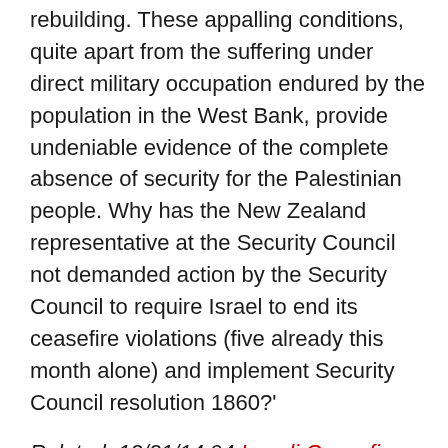rebuilding. These appalling conditions, quite apart from the suffering under direct military occupation endured by the population in the West Bank, provide undeniable evidence of the complete absence of security for the Palestinian people. Why has the New Zealand representative at the Security Council not demanded action by the Security Council to require Israel to end its ceasefire violations (five already this month alone) and implement Security Council resolution 1860?'
Related: 12/21/14 94 Israeli Ceasefire Violations Since August
US Secretary of State and Middle East Quartet member John Kerry is also reportedly an